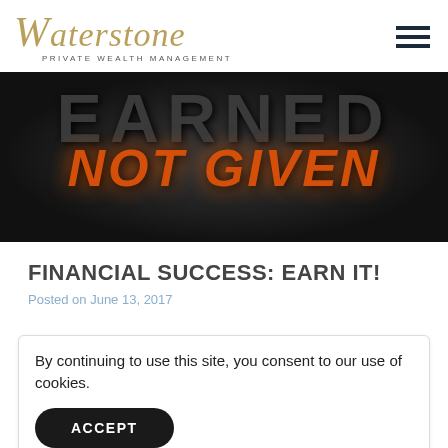[Figure (logo): Waterstone Private Wealth Management logo with cursive gold text and subtitle]
[Figure (photo): Dark textured background with large grey text 'EARNED' and orange italic text 'NOT GIVEN' overlaid]
FINANCIAL SUCCESS: EARN IT!
Posted on June 13, 2017
By continuing to use this site, you consent to our use of cookies.
ACCEPT